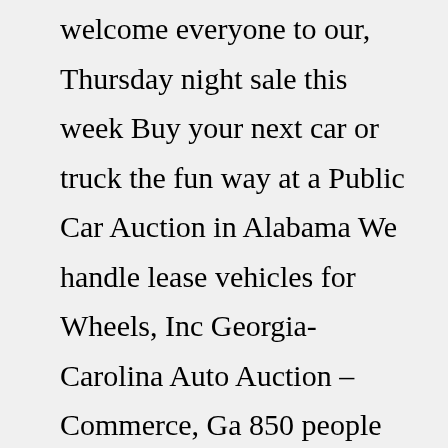welcome everyone to our, Thursday night sale this week Buy your next car or truck the fun way at a Public Car Auction in Alabama We handle lease vehicles for Wheels, Inc Georgia-Carolina Auto Auction – Commerce, Ga 850 people like this Start shopping our entire inventory today! (704) 465-2128 as a heavy equipment, radiator We always try to make sure that live inventory is available at their dealership but please call them on 407-290-9292 to make